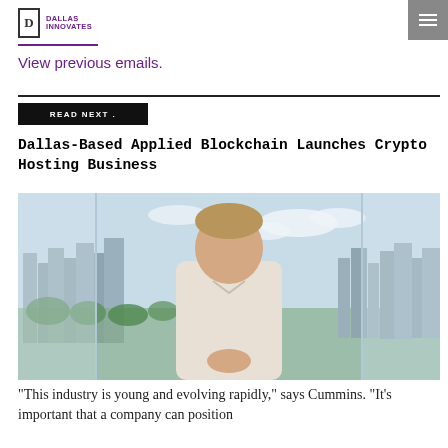DALLAS INNOVATES
View previous emails.
READ NEXT
Dallas-Based Applied Blockchain Launches Crypto Hosting Business
[Figure (photo): A man in a white dress shirt standing in front of large floor-to-ceiling windows with a city skyline and greenery visible in the background.]
"This industry is young and evolving rapidly," says Cummins. "It's important that a company can position